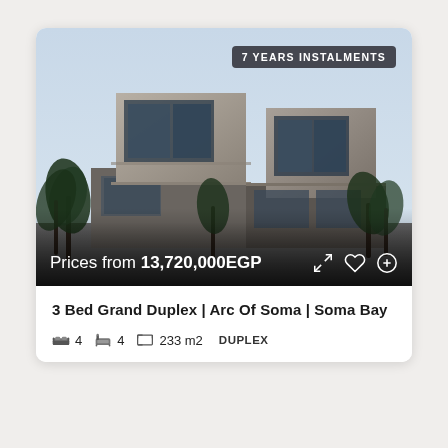[Figure (photo): Exterior architectural rendering of a modern duplex with concrete facade, large glass windows, and palm trees. Sky blue background.]
7 YEARS INSTALMENTS
Prices from 13,720,000EGP
3 Bed Grand Duplex | Arc Of Soma | Soma Bay
4  4  233 m2  DUPLEX